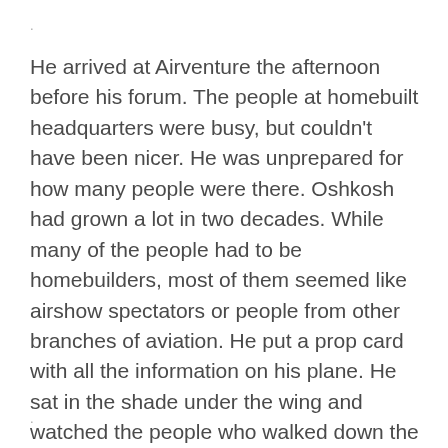.
He arrived at Airventure the afternoon before his forum. The people at homebuilt headquarters were busy, but couldn't have been nicer. He was unprepared for how many people were there. Oshkosh had grown a lot in two decades. While many of the people had to be homebuilders, most of them seemed like airshow spectators or people from other branches of aviation. He put a prop card with all the information on his plane. He sat in the shade under the wing and watched the people who walked down the row of planes.
.